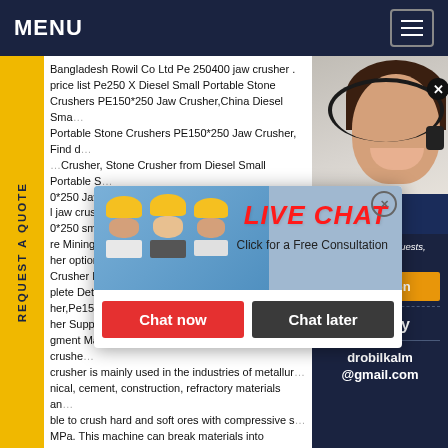MENU
Bangladesh Rowil Co Ltd Pe 250400 jaw crusher . price list Pe250 X Diesel Small Portable Stone Crushers PE150*250 Jaw Crusher,China Diesel Small Portable Stone Crushers PE150*250 Jaw Crusher, Find details about Crusher, Stone Crusher from Diesel Small Portable Stone Crushers PE150*250 Jaw Crusher Shandong Auchi Machinery Co., Ltd jaw crusher pe150*250 small jaw crusher Alibaba pe150*250 small jaw crusher pe150*250 small jaw crusher from Mining Machinery Suppliers or Manufacturer other options Crusher Buyer Complete Details her,Pe150*250 her Supplier gment Manufacturing Co, Ltd.PE150*250 Jaw crusher is mainly used in the industries of metallurgical, chemical, cement, construction, refractory materials and able to crush hard and soft ores with compressive strength not more than MPa. This machine can break materials into medium size.Diesel Small Portable Stone Crushers Pe150*250 Jaw class quality jaw crusher mini machine by competitive crusher mini model is PE150X250, which is the smallest jaw crusher in market. we can make motor drived or diesel drived, it can be fixed jaw crusher or portable jaw crusher. if choose one type from us when inquiry!
[Figure (photo): Live Chat popup overlay with workers in yellow helmets and a 'LIVE CHAT - Click for a Free Consultation' banner, with Chat now and Chat later buttons]
[Figure (photo): Customer service representative woman with headset on dark blue background]
if you have any requests, click here.
Quotation
Enquiry
drobilkalm@gmail.com